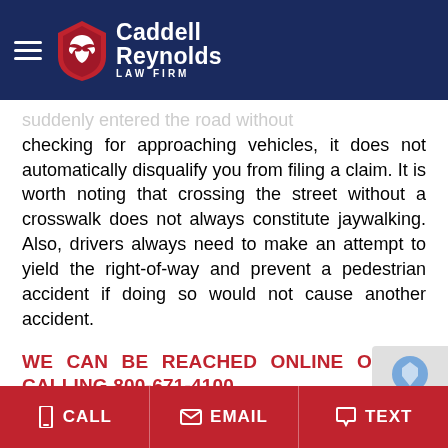Caddell Reynolds Law Firm
suddenly entered the road without checking for approaching vehicles, it does not automatically disqualify you from filing a claim. It is worth noting that crossing the street without a crosswalk does not always constitute jaywalking. Also, drivers always need to make an attempt to yield the right-of-way and prevent a pedestrian accident if doing so would not cause another accident.
WE CAN BE REACHED ONLINE OR BY CALLING 800-671-4100.
CALL   EMAIL   TEXT